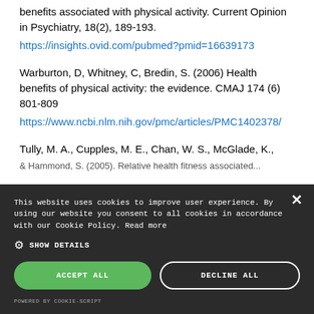benefits associated with physical activity. Current Opinion in Psychiatry, 18(2), 189-193.
https://insights.ovid.com/pubmed?pmid=16639173
Warburton, D, Whitney, C, Bredin, S. (2006) Health benefits of physical activity: the evidence. CMAJ 174 (6) 801-809
https://www.ncbi.nlm.nih.gov/pmc/articles/PMC1402378/
Tully, M. A., Cupples, M. E., Chan, W. S., McGlade, K., & ... (2005). Randomised controlled trial...
This website uses cookies to improve user experience. By using our website you consent to all cookies in accordance with our Cookie Policy. Read more
SHOW DETAILS
ACCEPT ALL
DECLINE ALL
POWERED BY COOKIE-SCRIPT